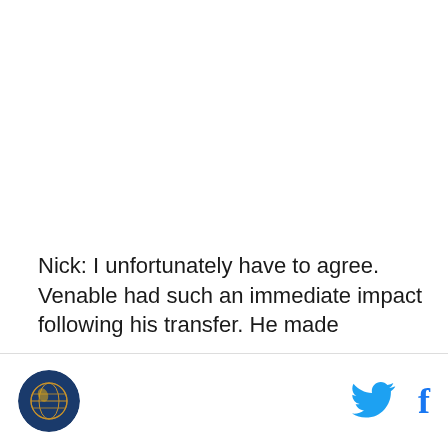Nick: I unfortunately have to agree. Venable had such an immediate impact following his transfer. He made
[Figure (logo): Circular logo with yellow/orange globe illustration on dark blue background — SB Nation sports media logo]